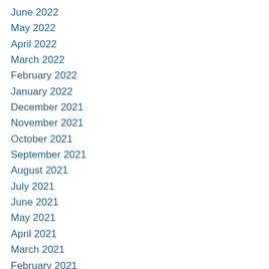June 2022
May 2022
April 2022
March 2022
February 2022
January 2022
December 2021
November 2021
October 2021
September 2021
August 2021
July 2021
June 2021
May 2021
April 2021
March 2021
February 2021
January 2021